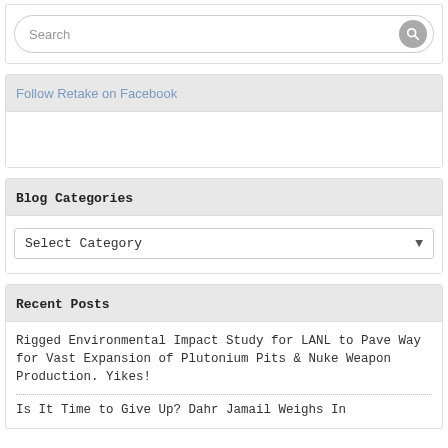Search
Follow Retake on Facebook
Blog Categories
Select Category
Recent Posts
Rigged Environmental Impact Study for LANL to Pave Way for Vast Expansion of Plutonium Pits & Nuke Weapon Production. Yikes!
Is It Time to Give Up? Dahr Jamail Weighs In